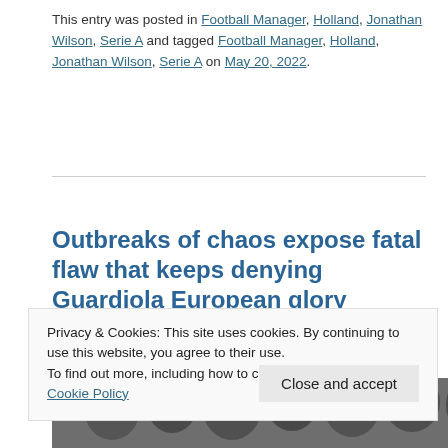This entry was posted in Football Manager, Holland, Jonathan Wilson, Serie A and tagged Football Manager, Holland, Jonathan Wilson, Serie A on May 20, 2022.
Outbreaks of chaos expose fatal flaw that keeps denying Guardiola European glory
Leave a reply
[Figure (photo): Partial view of a crowd photo visible at the bottom of the page behind the cookie banner]
Privacy & Cookies: This site uses cookies. By continuing to use this website, you agree to their use.
To find out more, including how to control cookies, see here: Cookie Policy